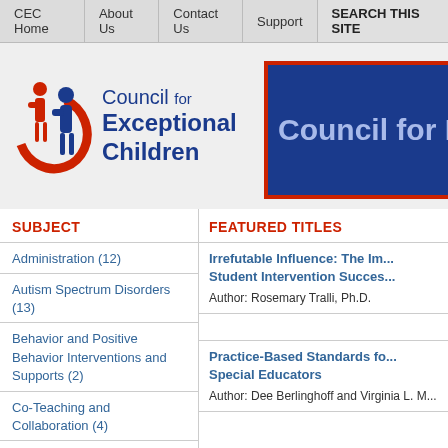CEC Home | About Us | Contact Us | Support | SEARCH THIS SITE
[Figure (logo): Council for Exceptional Children logo with icon of two figures (adult and child) and text 'Council for Exceptional Children' in blue]
[Figure (illustration): Blue banner with dark blue background and red border showing text 'Council for E' (partially cropped)]
SUBJECT
Administration (12)
Autism Spectrum Disorders (13)
Behavior and Positive Behavior Interventions and Supports (2)
Co-Teaching and Collaboration (4)
High-Leverage Practices (2)
History and Reference (4)
FEATURED TITLES
Irrefutable Influence: The Im... Student Intervention Succes...
Author: Rosemary Tralli, Ph.D.
Practice-Based Standards fo... Special Educators
Author: Dee Berlinghoff and Virginia L. M...